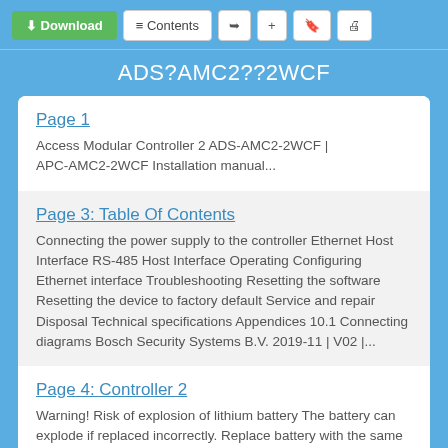Download | Contents
ADS?AMC2??2WCF
Page 1
Access Modular Controller 2 ADS-AMC2-2WCF | APC-AMC2-2WCF Installation manual...
Page 3: Table Of Contents
Connecting the power supply to the controller Ethernet Host Interface RS-485 Host Interface Operating Configuring Ethernet interface Troubleshooting Resetting the software Resetting the device to factory default Service and repair Disposal Technical specifications Appendices 10.1 Connecting diagrams Bosch Security Systems B.V. 2019-11 | V02 |...
Page 4: Controller 2
Warning! Risk of explosion of lithium battery The battery can explode if replaced incorrectly. Replace battery with the same type as recommended by Bosch. Dispose used batteries according to the instructions of the manufacturer of the